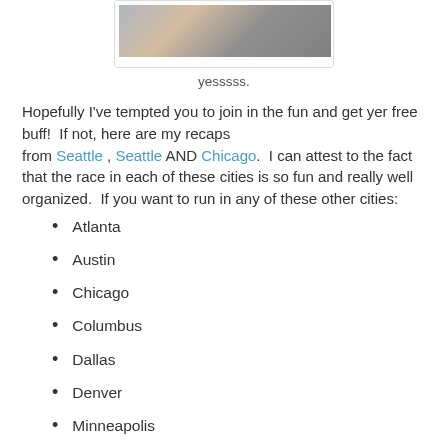[Figure (photo): Partial photo of a person, cropped at top, shown in a polaroid-style card]
yesssss.
Hopefully I've tempted you to join in the fun and get yer free buff!  If not, here are my recaps from Seattle , Seattle AND Chicago.  I can attest to the fact that the race in each of these cities is so fun and really well organized.  If you want to run in any of these other cities:
Atlanta
Austin
Chicago
Columbus
Dallas
Denver
Minneapolis
Philadelphia
Phoenix
San Diego